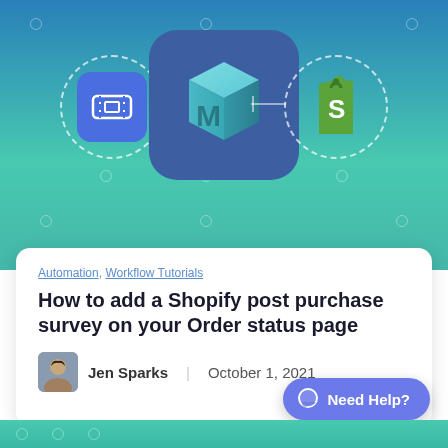[Figure (illustration): Blog post header graphic showing three integration icons connected by lines: left circle (dashed border) with a blue rounded-square icon containing a ticket/coupon symbol, center large rounded-square with Mailtrap M cube logo, right circle (dashed border) with Shopify green bag logo. Blue-to-teal gradient background with decorative dots.]
Automation, Workflow Tutorials
How to add a Shopify post purchase survey on your Order status page
Jen Sparks  |  October 1, 2021
Need Help?